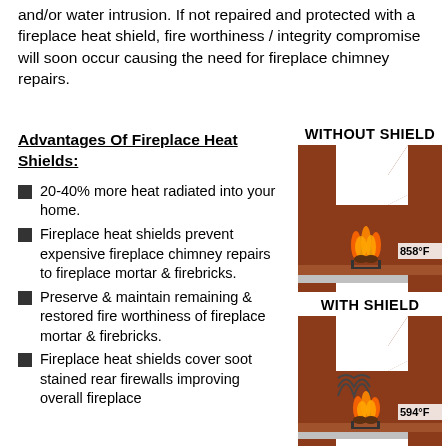and/or water intrusion.  If not repaired and protected with a fireplace heat shield, fire worthiness / integrity compromise will soon occur causing the need for fireplace chimney repairs.
Advantages Of Fireplace Heat Shields:
20-40% more heat radiated into your home.
Fireplace heat shields prevent expensive fireplace chimney repairs to fireplace mortar & firebricks.
Preserve & maintain remaining & restored fire worthiness of fireplace mortar & firebricks.
Fireplace heat shields cover soot stained rear firewalls improving overall fireplace
[Figure (illustration): Diagram of a fireplace cross-section WITHOUT a heat shield, showing flames and temperature reading of 858°F on the right side wall]
WITHOUT SHIELD
[Figure (illustration): Diagram of a fireplace cross-section WITH a heat shield, showing flames with heat deflection waves and temperature reading of 594°F on the right side wall]
WITH SHIELD